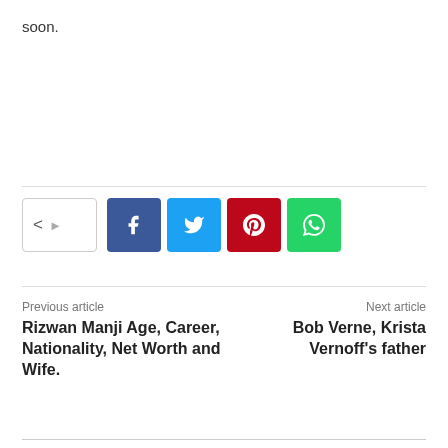soon.
[Figure (other): Social share bar with share toggle button and icons for Facebook, Twitter, Pinterest, and WhatsApp]
Previous article
Rizwan Manji Age, Career, Nationality, Net Worth and Wife.
Next article
Bob Verne, Krista Vernoff's father